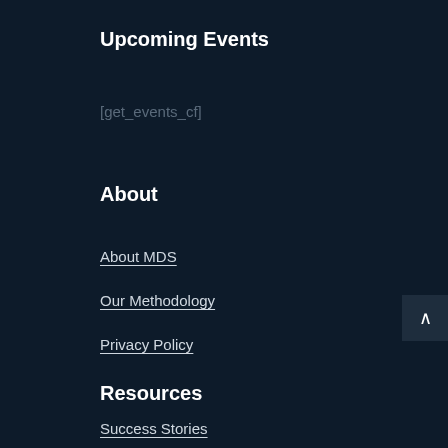Upcoming Events
[get_events_cf]
About
About MDS
Our Methodology
Privacy Policy
Resources
Success Stories
MDS Blog
Upcoming Events